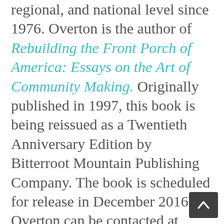regional, and national level since 1976. Overton is the author of Rebuilding the Front Porch of America: Essays on the Art of Community Making. Originally published in 1997, this book is being reissued as a Twentieth Anniversary Edition by Bitterroot Mountain Publishing Company. The book is scheduled for release in December 2016. Overton can be contacted at pmoverton@msn.com.